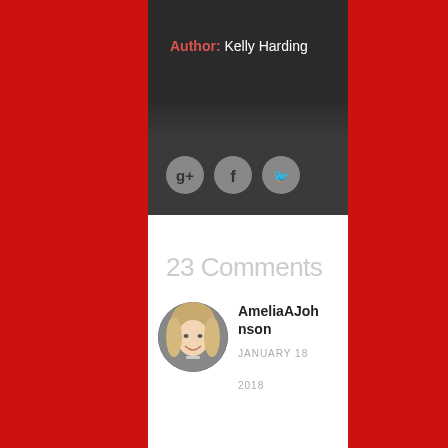Author: Kelly Harding
[Figure (infographic): Social media icon buttons: Google+, Facebook, Twitter on dark background bar]
23 Comments
[Figure (photo): Circular avatar photo of a woman with blonde hair smiling]
AmeliaAJohnson
JANUARY 18
2018